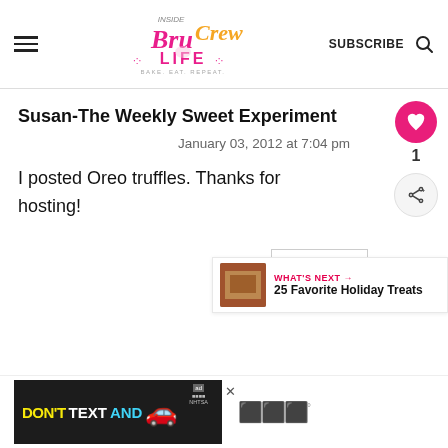[Figure (logo): Inside Bru Crew Life logo - pink and gold script text with tagline 'Bake. Eat. Repeat.']
Susan-The Weekly Sweet Experiment
January 03, 2012 at 7:04 pm
I posted Oreo truffles. Thanks for hosting!
[Figure (other): Reply button with like (heart) count of 1 and share icon]
[Figure (other): What's Next widget showing 25 Favorite Holiday Treats with thumbnail image]
[Figure (other): DON'T TEXT AND [car emoji] advertisement banner with NHTSA ad badge and close button]